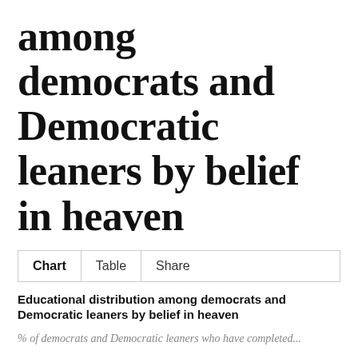among democrats and Democratic leaners by belief in heaven
Chart	Table	Share
Educational distribution among democrats and Democratic leaners by belief in heaven
% of democrats and Democratic leaners who have completed...